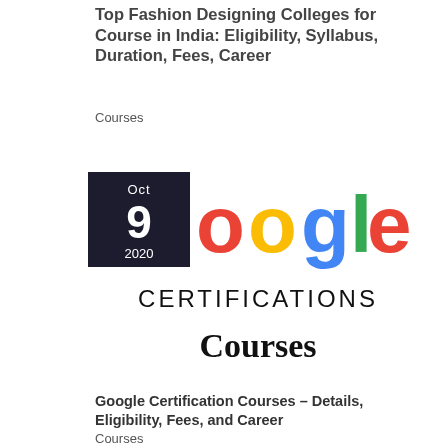Top Fashion Designing Colleges for Course in India: Eligibility, Syllabus, Duration, Fees, Career
Courses
[Figure (logo): Google Certifications Courses logo image with a dark date badge showing Oct 9 2020, Google multicolor letters, CERTIFICATIONS text, and Courses text]
Google Certification Courses – Details, Eligibility, Fees, and Career
Courses